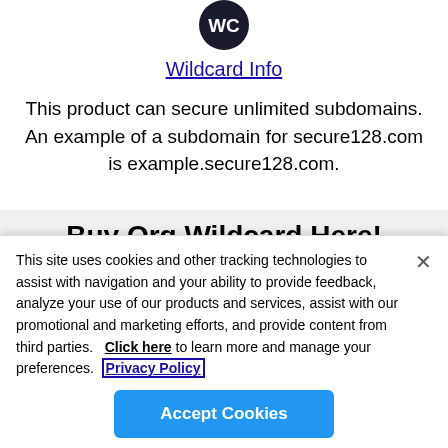[Figure (logo): Partial circular logo with 'WC' or similar monogram on dark background, cropped at top]
Wildcard Info
This product can secure unlimited subdomains. An example of a subdomain for secure128.com is example.secure128.com.
Buy Org Wildcard Here!
Year 1
This site uses cookies and other tracking technologies to assist with navigation and your ability to provide feedback, analyze your use of our products and services, assist with our promotional and marketing efforts, and provide content from third parties.   Click here to learn more and manage your preferences.  Privacy Policy
Accept Cookies